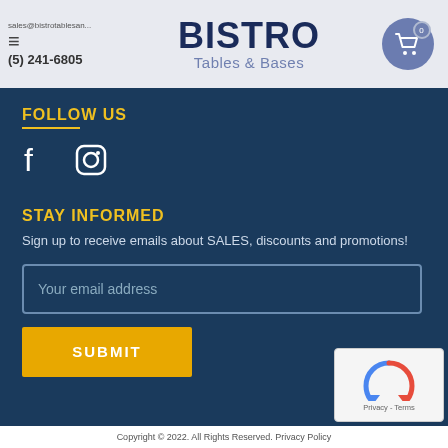BISTRO Tables & Bases | sales@bistrotablesand... | (5) 241-6805
FOLLOW US
[Figure (illustration): Facebook and Instagram social media icons in white on dark blue background]
STAY INFORMED
Sign up to receive emails about SALES, discounts and promotions!
Your email address
SUBMIT
[Figure (other): reCAPTCHA widget with Privacy - Terms text]
Copyright © 2022. All Rights Reserved. Privacy Policy